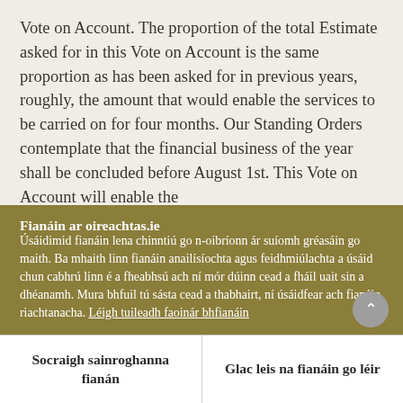Vote on Account. The proportion of the total Estimate asked for in this Vote on Account is the same proportion as has been asked for in previous years, roughly, the amount that would enable the services to be carried on for four months. Our Standing Orders contemplate that the financial business of the year shall be concluded before August 1st. This Vote on Account will enable the
Fianáin ar oireachtas.ie
Úsáidimid fianáin lena chinntiú go n-oibríonn ár suíomh gréasáin go maith. Ba mhaith linn fianáin anailísíochta agus feidhmiúlachta a úsáid chun cabhrú linn é a fheabhsú ach ní mór dúinn cead a fháil uait sin a dhéanamh. Mura bhfuil tú sásta cead a thabhairt, ní úsáidfear ach fianáin riachtanacha. Léigh tuileadh faoinár bhfianáin
Socraigh sainroghanna fianán
Glac leis na fianáin go léir